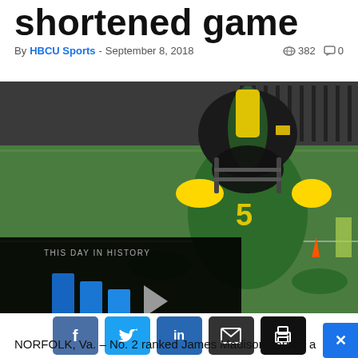shortened game
By HBCU Sports - September 8, 2018   382  0
[Figure (photo): Football player in green and yellow uniform (number 5) in a crouched stance on the field, with a partially visible video overlay showing 'THIS DAY IN HISTORY' with blue bars and the word 'AUGUST']
[Figure (screenshot): Social sharing buttons: Facebook (f), Twitter (bird), LinkedIn (in), Email (envelope), Print (printer)]
NORFOLK, Va. – No. 2 ranked James Madison earned a